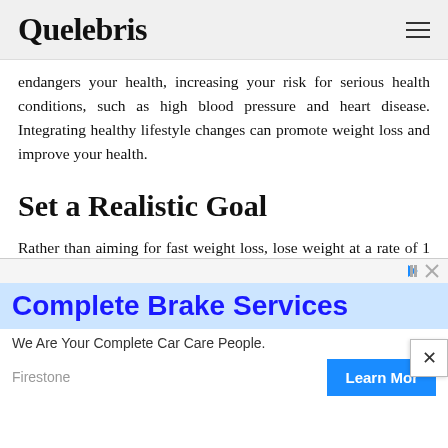Quelebris
endangers your health, increasing your risk for serious health conditions, such as high blood pressure and heart disease. Integrating healthy lifestyle changes can promote weight loss and improve your health.
Set a Realistic Goal
Rather than aiming for fast weight loss, lose weight at a rate of 1 to 2 pounds per
[Figure (screenshot): Advertisement banner for Complete Brake Services by Firestone with a 'Learn More' call-to-action button]